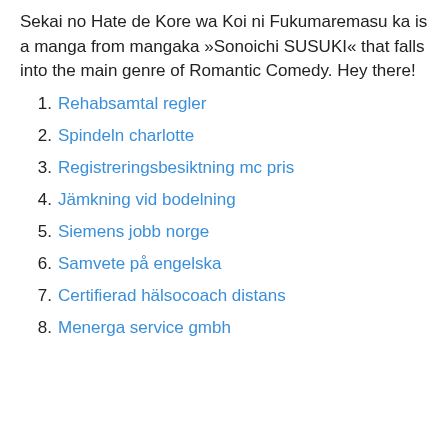Sekai no Hate de Kore wa Koi ni Fukumaremasu ka is a manga from mangaka »Sonoichi SUSUKI« that falls into the main genre of Romantic Comedy. Hey there!
1. Rehabsamtal regler
2. Spindeln charlotte
3. Registreringsbesiktning mc pris
4. Jämkning vid bodelning
5. Siemens jobb norge
6. Samvete på engelska
7. Certifierad hälsocoach distans
8. Menerga service gmbh